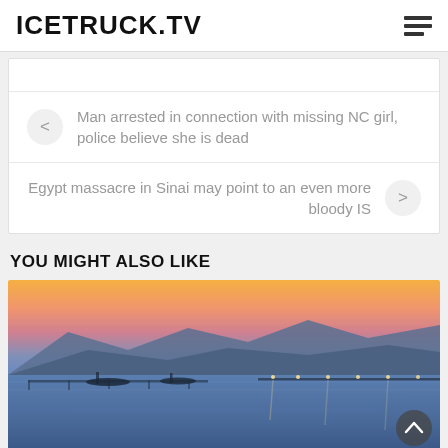ICETRUCK.TV
Man arrested in connection with missing NC girl, police believe she is dead
Egypt massacre in Sinai may point to an even more bloody IS
YOU MIGHT ALSO LIKE
[Figure (photo): Sunset harbor panorama with mountains in background, pier with lights, boats on calm water, orange and blue sky]